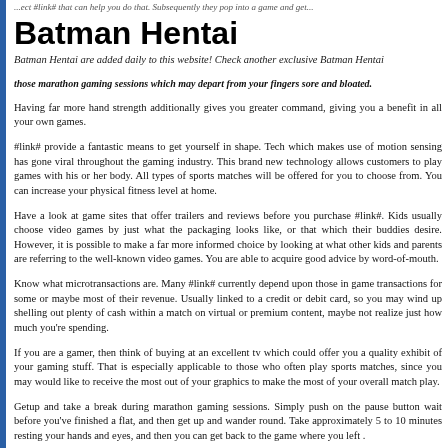...ect #link# that can help you do that. Subsequently they pop into a game and get...
Batman Hentai
Batman Hentai are added daily to this website! Check another exclusive Batman Hentai
those marathon gaming sessions which may depart from your fingers sore and bloated. Having far more hand strength additionally gives you greater command, giving you a benefit in all your own games.
#link# provide a fantastic means to get yourself in shape. Tech which makes use of motion sensing has gone viral throughout the gaming industry. This brand new technology allows customers to play games with his or her body. All types of sports matches will be offered for you to choose from. You can increase your physical fitness level at home.
Have a look at game sites that offer trailers and reviews before you purchase #link#. Kids usually choose video games by just what the packaging looks like, or that which their buddies desire. However, it is possible to make a far more informed choice by looking at what other kids and parents are referring to the well-known video games. You are able to acquire good advice by word-of-mouth.
Know what microtransactions are. Many #link# currently depend upon those in game transactions for some or maybe most of their revenue. Usually linked to a credit or debit card, so you may wind up shelling out plenty of cash within a match on virtual or premium content, maybe not realize just how much you're spending.
If you are a gamer, then think of buying at an excellent tv which could offer you a quality exhibit of your gaming stuff. That is especially applicable to those who often play sports matches, since you may would like to receive the most out of your graphics to make the most of your overall match play.
Getup and take a break during marathon gaming sessions. Simply push on the pause button wait before you've finished a flat, and then get up and wander round. Take approximately 5 to 10 minutes resting your hands and eyes, and then you can get back to the game where you left .
Hold your computer or console trendy. Whether you match on one of many most significant consoles or onto your own desktop personal computer, heating is your enemy